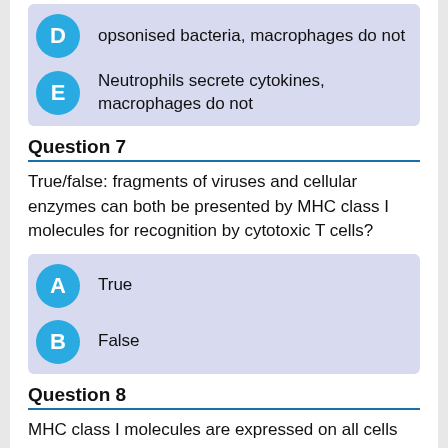D: opsonised bacteria, macrophages do not
E: Neutrophils secrete cytokines, macrophages do not
Question 7
True/false: fragments of viruses and cellular enzymes can both be presented by MHC class I molecules for recognition by cytotoxic T cells?
A: True
B: False
Question 8
MHC class I molecules are expressed on all cells except: